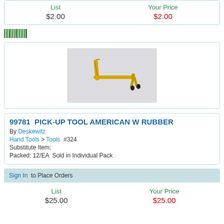| List | Your Price |
| --- | --- |
| $2.00 | $2.00 |
[Figure (photo): Gold-colored pick-up tool with rubber-tipped ends, bent handle shape, on light gray background]
99781  PICK-UP TOOL AMERICAN W RUBBER
By Deskewitz
Hand Tools > Tools  #324
Substitute Item:
Packed: 12/EA  Sold in Individual Pack
Sign In  to Place Orders
| List | Your Price |
| --- | --- |
| $25.00 | $25.00 |